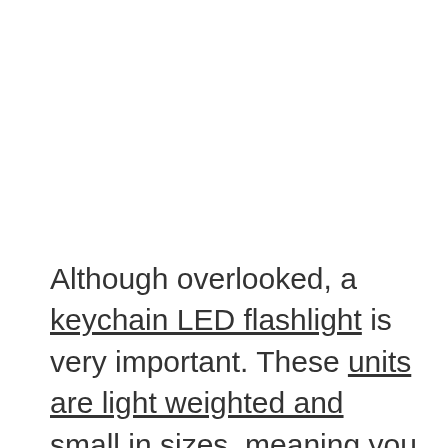Although overlooked, a keychain LED flashlight is very important. These units are light weighted and small in sizes, meaning you can carry them anywhere and use them anytime. They are ideal for outdoor activities such as camping, trekking, hiking, cycling, and biking, among others. Ideally, most keychain